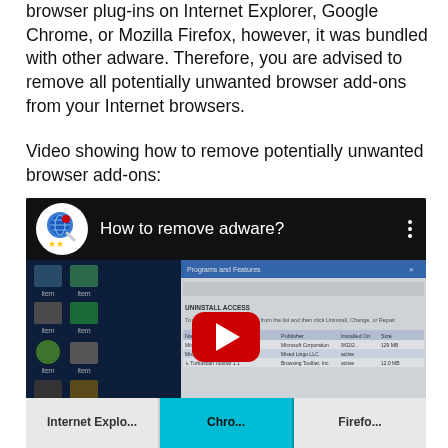browser plug-ins on Internet Explorer, Google Chrome, or Mozilla Firefox, however, it was bundled with other adware. Therefore, you are advised to remove all potentially unwanted browser add-ons from your Internet browsers.
Video showing how to remove potentially unwanted browser add-ons:
[Figure (screenshot): YouTube-style embedded video thumbnail showing 'How to remove adware?' with a play button overlay on a Windows desktop screenshot background showing Programs and Features dialog.]
[Figure (screenshot): Browser selection tabs at the bottom: Internet Explorer (gray), Chrome (cyan/blue), Firefox (gray)]